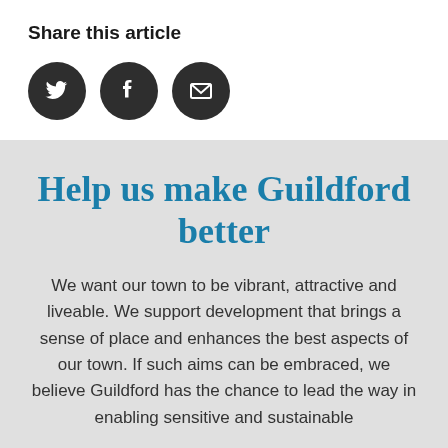Share this article
[Figure (illustration): Three social media sharing icons: Twitter (bird), Facebook (f), and Email (envelope), each in a dark circular button]
Help us make Guildford better
We want our town to be vibrant, attractive and liveable. We support development that brings a sense of place and enhances the best aspects of our town. If such aims can be embraced, we believe Guildford has the chance to lead the way in enabling sensitive and sustainable